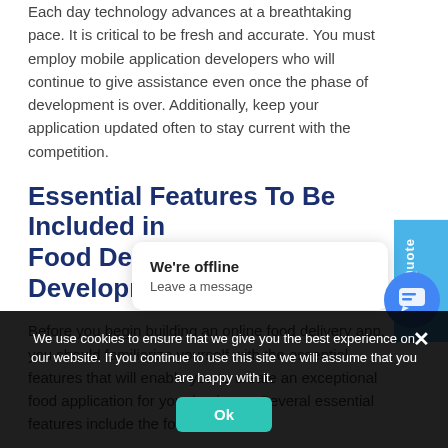Each day technology advances at a breathtaking pace. It is critical to be fresh and accurate. You must employ mobile application developers who will continue to give assistance even once the phase of development is over. Additionally, keep your application updated often to stay current with the competition.
Essential Features To Be Included in Food Delivery App Development
Before you begin building an online food delivery app, you should familiarize yourself with the essential features that will enable you to create an exceptional food application for your business. Several essential features include the following:
Get A Quote
We're offline
Leave a message
We use cookies to ensure that we give you the best experience on our website. If you continue to use this site we will assume that you are happy with it.
Ok